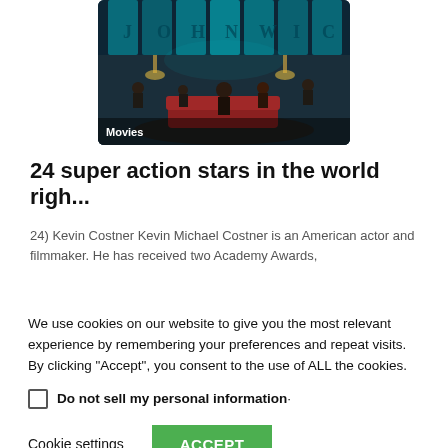[Figure (photo): Movie promotional image showing people in a dark, atmospheric interior setting with blue-tinted stained glass windows. Text overlay reads 'Movies' in the bottom left.]
24 super action stars in the world righ...
24) Kevin Costner Kevin Michael Costner is an American actor and filmmaker. He has received two Academy Awards,
We use cookies on our website to give you the most relevant experience by remembering your preferences and repeat visits. By clicking “Accept”, you consent to the use of ALL the cookies.
Do not sell my personal information·
Cookie settings   ACCEPT